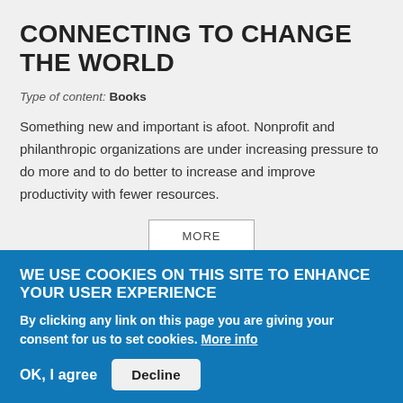CONNECTING TO CHANGE THE WORLD
Type of content: Books
Something new and important is afoot. Nonprofit and philanthropic organizations are under increasing pressure to do more and to do better to increase and improve productivity with fewer resources.
MORE
WE USE COOKIES ON THIS SITE TO ENHANCE YOUR USER EXPERIENCE
By clicking any link on this page you are giving your consent for us to set cookies. More info
OK, I agree
Decline